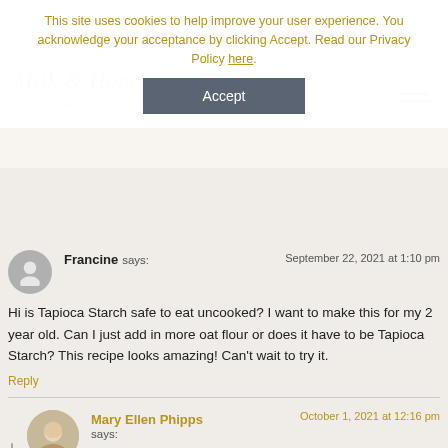This site uses cookies to help improve your user experience. You acknowledge your acceptance by clicking Accept. Read our Privacy Policy here.
Accept
Milk & Honey Nutrition
Francine says: September 22, 2021 at 1:10 pm
Hi is Tapioca Starch safe to eat uncooked? I want to make this for my 2 year old. Can I just add in more oat flour or does it have to be Tapioca Starch? This recipe looks amazing! Can't wait to try it.
Reply
Mary Ellen Phipps says: October 1, 2021 at 12:16 pm
Commercially processed tapioca flour is typically considered safe to consume raw. But, poorly